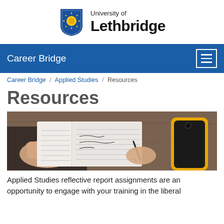[Figure (logo): University of Lethbridge logo with blue shield containing a yellow sun, beside the text 'University of Lethbridge']
Career Bridge
Career Bridge / Applied Studies / Resources
Resources
[Figure (photo): Person writing in an open notebook on a wooden desk, with a yellow smartphone on the right side]
Applied Studies reflective report assignments are an opportunity to engage with your training in the liberal